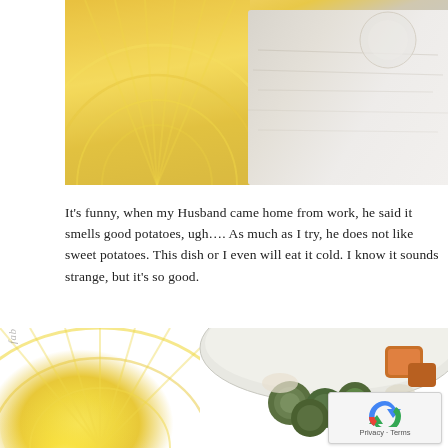[Figure (photo): Top portion of a photo showing a yellow sunflower-patterned fabric/napkin on a white wooden surface with a plate visible]
It's funny, when my Husband came home from work, he said it smells good potatoes, ugh…. As much as I try, he does not like sweet potatoes. This dish or I even will eat it cold. I know it sounds strange, but it's so good.
[Figure (photo): A white bowl containing brussels sprouts and roasted sweet potato cubes, placed on a yellow sunflower-patterned surface. A watermark signature is visible on the left side. A reCAPTCHA widget appears in the bottom right corner.]